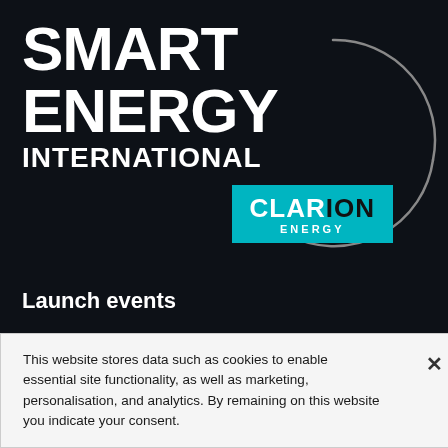SMART ENERGY INTERNATIONAL
[Figure (logo): Clarion Energy logo on teal background with circle arc graphic]
Launch events
Enlit Europe 2022
Enlit Australia 2022
This website stores data such as cookies to enable essential site functionality, as well as marketing, personalisation, and analytics. By remaining on this website you indicate your consent.